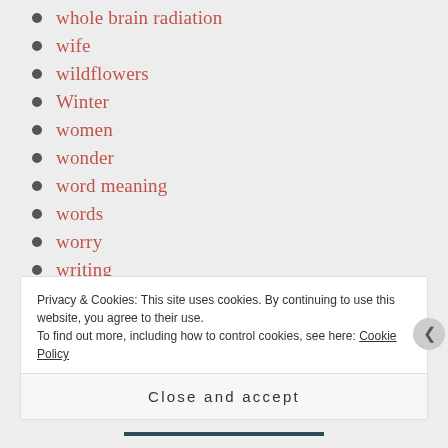whole brain radiation
wife
wildflowers
Winter
women
wonder
word meaning
words
worry
writing
Privacy & Cookies: This site uses cookies. By continuing to use this website, you agree to their use.
To find out more, including how to control cookies, see here: Cookie Policy
Close and accept